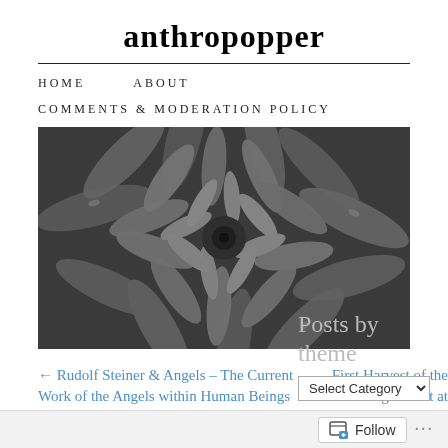anthropopper
HOME   ABOUT
COMMENTS & MODERATION POLICY
[Figure (photo): Black and white close-up photograph of a spiral succulent plant (agave), showing symmetrical pointed leaves arranged in a rosette pattern]
← Rudolf Steiner & Angels – The Current Work of the Angels within Human Beings
First Harvest of the Light Root at Emerson College →
Posts by theme
Select Category
Posts by
Follow